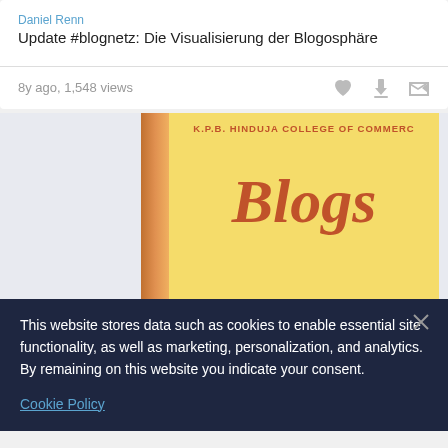Daniel Renn
Update #blognetz: Die Visualisierung der Blogosphäre
8y ago, 1,548 views
[Figure (photo): Book cover of K.P.B. Hinduja College of Commerce publication titled 'Blogs', yellow cover with red text, with book spine visible on the left side.]
This website stores data such as cookies to enable essential site functionality, as well as marketing, personalization, and analytics. By remaining on this website you indicate your consent.
Cookie Policy